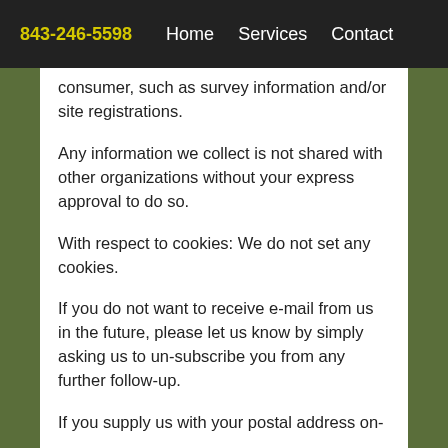843-246-5598   Home   Services   Contact
consumer, such as survey information and/or site registrations.
Any information we collect is not shared with other organizations without your express approval to do so.
With respect to cookies: We do not set any cookies.
If you do not want to receive e-mail from us in the future, please let us know by simply asking us to un-subscribe you from any further follow-up.
If you supply us with your postal address on-